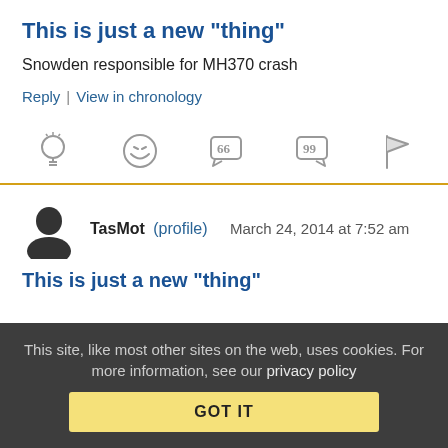This is just a new "thing"
Snowden responsible for MH370 crash
Reply | View in chronology
[Figure (other): Row of action icons: lightbulb, laughing emoji, quote bubble left, quote bubble right, flag]
TasMot (profile)   March 24, 2014 at 7:52 am
This is just a new "thing"
This site, like most other sites on the web, uses cookies. For more information, see our privacy policy
GOT IT